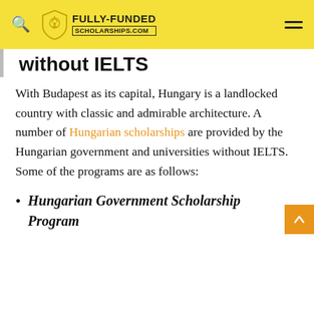FULLY-FUNDED SCHOLARSHIPS.COM
without IELTS
With Budapest as its capital, Hungary is a landlocked country with classic and admirable architecture. A number of Hungarian scholarships are provided by the Hungarian government and universities without IELTS. Some of the programs are as follows:
Hungarian Government Scholarship Program